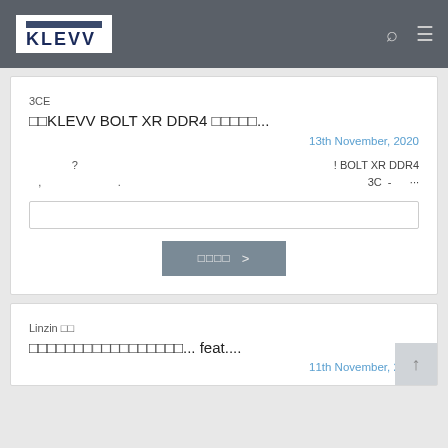KLEVV
3CE
□□KLEVV BOLT XR DDR4 □□□□□...
13th November, 2020
? ! BOLT XR DDR4
, . 3C - ...
□□□□ >
Linzin □□
□□□□□□□□□□□□□□□□□... feat....
11th November, 2020